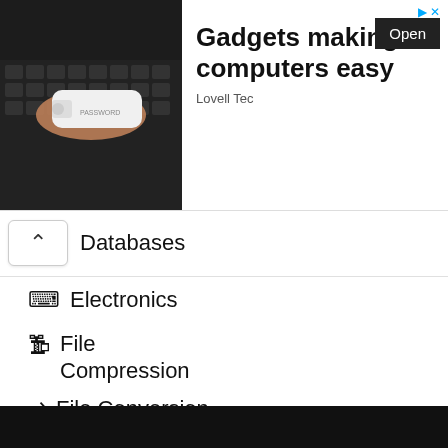[Figure (screenshot): Advertisement banner showing a hand holding a USB key-shaped device over a laptop keyboard. Text reads 'Gadgets making computers easy' with 'Open' button and 'Lovell Tec' brand name.]
Databases
Electronics
File Compression
File Conversion
Gaming
Graphics
Hardware
Internet
IT Management